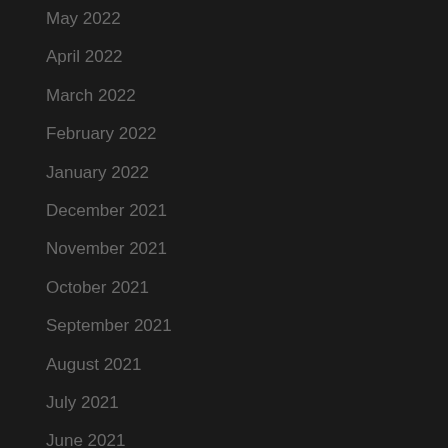May 2022
April 2022
March 2022
February 2022
January 2022
December 2021
November 2021
October 2021
September 2021
August 2021
July 2021
June 2021
May 2021
April 2021
March 2021